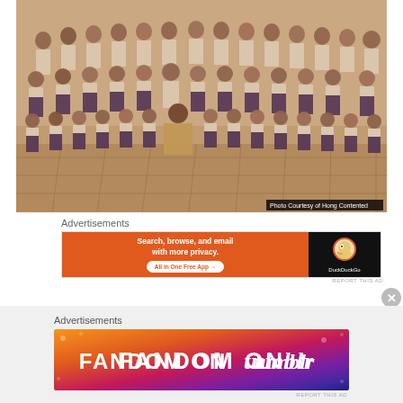[Figure (photo): Vintage sepia-toned class photo showing rows of school children and a teacher in the center. Children wear uniforms - girls in dark pinafores with white blouses, boys in white shirts. A watermark reads 'Photo Courtesy of Hong Contented'.]
Photo Courtesy of Hong Contented
Advertisements
[Figure (screenshot): DuckDuckGo advertisement banner. Orange left side reads 'Search, browse, and email with more privacy. All in One Free App'. Black right side shows DuckDuckGo logo and name.]
REPORT THIS AD
Advertisements
[Figure (screenshot): Fandom on Tumblr advertisement banner with colorful gradient background (orange to purple). Large bold white text reads 'FANDOM ON tumblr'.]
REPORT THIS AD